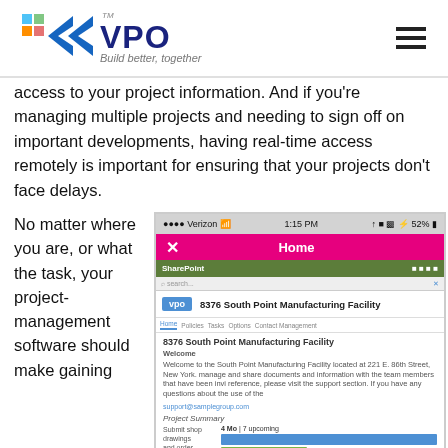VPO — Build better, together
access to your project information. And if you're managing multiple projects and needing to sign off on important developments, having real-time access remotely is important for ensuring that your projects don't face delays.
No matter where you are, or what the task, your project-management software should make gaining
[Figure (screenshot): Mobile app screenshot showing VPO project management app on an iPhone with Verizon 1:15 PM 52% battery, Home screen in magenta/pink, SharePoint bar in green, VPO badge showing 8376 South Point Manufacturing Facility project page with welcome text, submit shop drawings section with blue and green progress bars.]